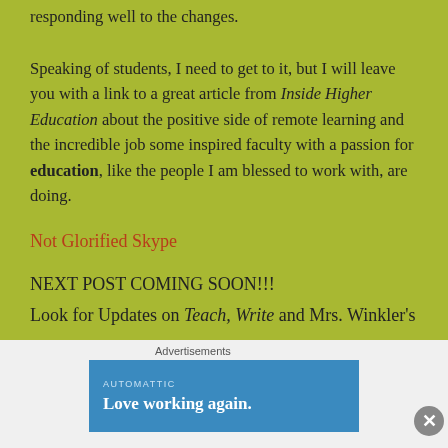responding well to the changes.
Speaking of students, I need to get to it, but I will leave you with a link to a great article from Inside Higher Education about the positive side of remote learning and the incredible job some inspired faculty with a passion for education, like the people I am blessed to work with, are doing.
Not Glorified Skype
NEXT POST COMING SOON!!!
Look for Updates on Teach, Write and Mrs. Winkler's
Advertisements
[Figure (infographic): Automattic advertisement banner with text 'AUTOMATTIC' and tagline 'Love working again.' on a blue background]